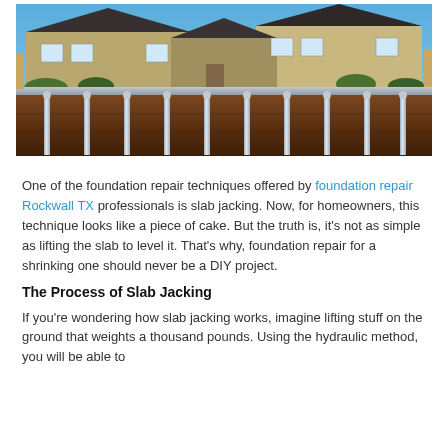[Figure (photo): Cross-section illustration showing a two-story house with foundation repair piers driven deep into the earth beneath a concrete slab, with multiple vertical steel piers visible through the soil layers.]
One of the foundation repair techniques offered by foundation repair Rockwall TX professionals is slab jacking. Now, for homeowners, this technique looks like a piece of cake. But the truth is, it's not as simple as lifting the slab to level it. That's why, foundation repair for a shrinking one should never be a DIY project.
The Process of Slab Jacking
If you're wondering how slab jacking works, imagine lifting stuff on the ground that weights a thousand pounds. Using the hydraulic method, you will be able to